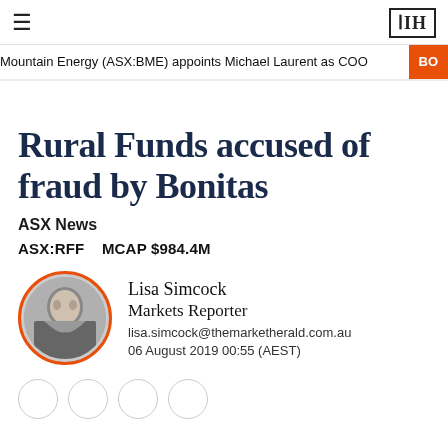≡    ЗПH
Mountain Energy (ASX:BME) appoints Michael Laurent as COO   BO
Rural Funds accused of fraud by Bonitas
ASX News
ASX:RFF   MCAP $984.4M
Lisa Simcock
Markets Reporter
lisa.simcock@themarketherald.com.au
06 August 2019 00:55 (AEST)